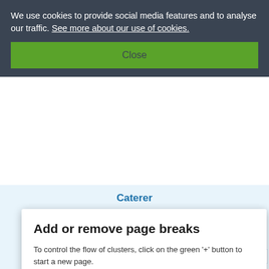We use cookies to provide social media features and to analyse our traffic. See more about our use of cookies.
Close
Caterer
Add or remove page breaks
To control the flow of clusters, click on the green '+' button to start a new page.
To remove a page break, use the 'X' button.
Add page break for Pathways
Print preview
Plant Baker
Retail Baker